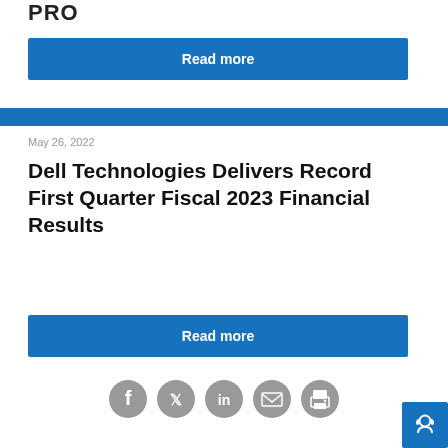PRO
Read more
May 26, 2022
Dell Technologies Delivers Record First Quarter Fiscal 2023 Financial Results
Read more